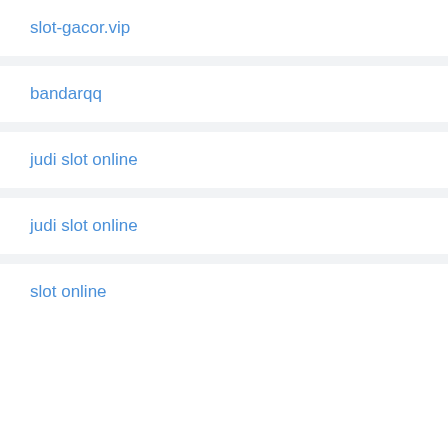slot-gacor.vip
bandarqq
judi slot online
judi slot online
slot online